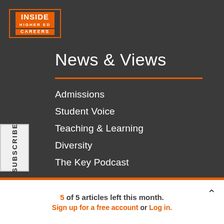[Figure (logo): Inside Higher Ed Careers logo with orange border and orange background on INSIDE text and CAREERS label]
News & Views
Admissions
Student Voice
Teaching & Learning
Diversity
The Key Podcast
5 of 5 articles left this month.
Sign up for a free account or Log in.